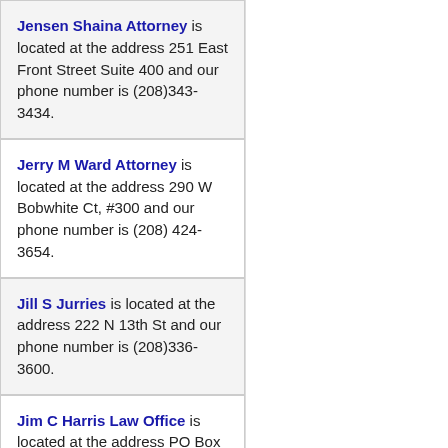Jensen Shaina Attorney is located at the address 251 East Front Street Suite 400 and our phone number is (208)343-3434.
Jerry M Ward Attorney is located at the address 290 W Bobwhite Ct, #300 and our phone number is (208) 424-3654.
Jill S Jurries is located at the address 222 N 13th St and our phone number is (208)336-3600.
Jim C Harris Law Office is located at the address PO Box 9345 and our phone number is (208)336-4667.
John B Todd Law Office is located at the address 1487 W…